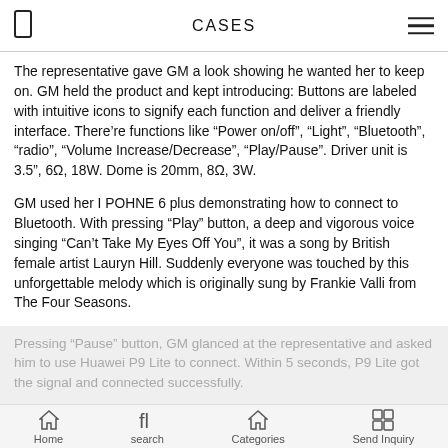CASES
The representative gave GM a look showing he wanted her to keep on. GM held the product and kept introducing: Buttons are labeled with intuitive icons to signify each function and deliver a friendly interface. There're functions like “Power on/off”, “Light”, “Bluetooth”, “radio”, “Volume Increase/Decrease”, “Play/Pause”. Driver unit is 3.5”, 6Ω, 18W. Dome is 20mm, 8Ω, 3W.
GM used her I POHNE 6 plus demonstrating how to connect to Bluetooth. With pressing “Play” button, a deep and vigorous voice singing “Can’t Take My Eyes Off You”, it was a song by British female artist Lauryn Hill. Suddenly everyone was touched by this unforgettable melody which is originally sung by Frankie Valli from The Four Seasons.
Pressing “Pause” button, GM glanced at the representative and asked him to use Huawei P9 Lite to connect. Within 5 seconds, P9 Lite got the signal and connected successfully.
Home  search  Categories  Send Inquiry